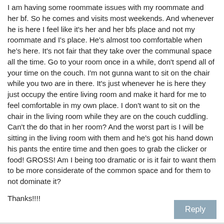I am having some roommate issues with my roommate and her bf. So he comes and visits most weekends. And whenever he is here I feel like it's her and her bfs place and not my roommate and I's place. He's almost too comfortable when he's here. It's not fair that they take over the communal space all the time. Go to your room once in a while, don't spend all of your time on the couch. I'm not gunna want to sit on the chair while you two are in there. It's just whenever he is here they just occupy the entire living room and make it hard for me to feel comfortable in my own place. I don't want to sit on the chair in the living room while they are on the couch cuddling. Can't the do that in her room? And the worst part is I will be sitting in the living room with them and he's got his hand down his pants the entire time and then goes to grab the clicker or food! GROSS! Am I being too dramatic or is it fair to want them to be more considerate of the common space and for them to not dominate it?
Thanks!!!!